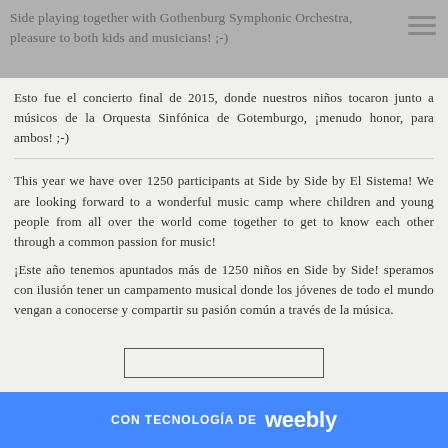Side playing together with Gothenburg Symphonic Orchestra, pleasure to both kids and musicians! ;-)
Esto fue el concierto final de 2015, donde nuestros niños tocaron junto a músicos de la Orquesta Sinfónica de Gotemburgo, ¡menudo honor, para ambos! ;-)
This year we have over 1250 participants at Side by Side by El Sistema! We are looking forward to a wonderful music camp where children and young people from all over the world come together to get to know each other through a common passion for music!
¡Este año tenemos apuntados más de 1250 niños en Side by Side! speramos con ilusión tener un campamento musical donde los jóvenes de todo el mundo vengan a conocerse y compartir su pasión común a través de la música.
CON TECNOLOGÍA DE weebly